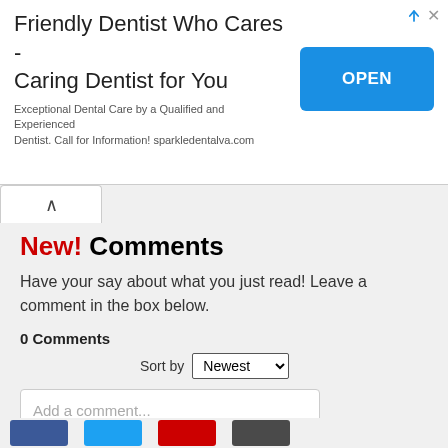[Figure (screenshot): Advertisement banner: 'Friendly Dentist Who Cares - Caring Dentist for You' with blue OPEN button. Subtitle: 'Exceptional Dental Care by a Qualified and Experienced Dentist. Call for Information! sparkledentalva.com']
New! Comments
Have your say about what you just read! Leave a comment in the box below.
0 Comments
Sort by Newest
Add a comment...
Facebook Comments Plugin